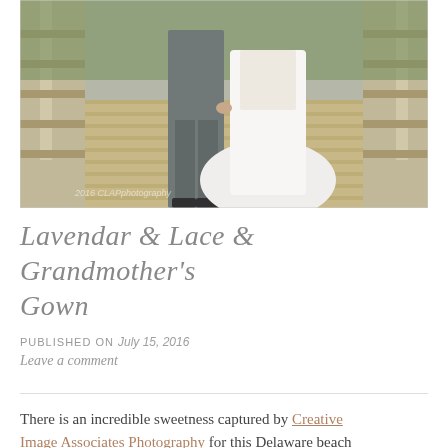[Figure (photo): Wedding photo of a bride and groom standing on a wooden bridge holding hands, viewed from behind at waist level. The groom wears a gray suit and the bride wears a white ball gown. Wooden fence railings flank both sides. A watermark '2016 CLAPphotography' is visible at the bottom left.]
Lavendar & Lace & Grandmother's Gown
PUBLISHED ON July 15, 2016
Leave a comment
There is an incredible sweetness captured by Creative Image Associates Photography for this Delaware beach